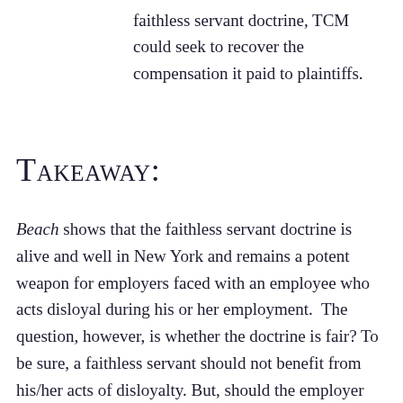faithless servant doctrine, TCM could seek to recover the compensation it paid to plaintiffs.
Takeaway:
Beach shows that the faithless servant doctrine is alive and well in New York and remains a potent weapon for employers faced with an employee who acts disloyal during his or her employment.  The question, however, is whether the doctrine is fair? To be sure, a faithless servant should not benefit from his/her acts of disloyalty. But, should the employer benefit too by strict application of the doctrine?  That